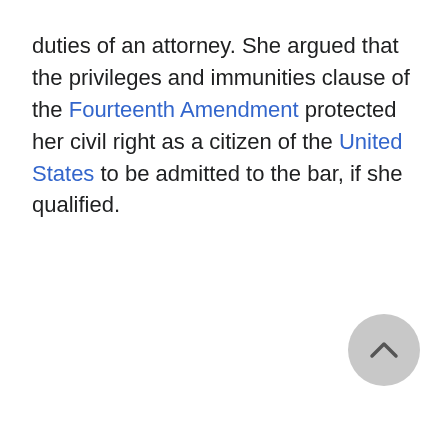duties of an attorney. She argued that the privileges and immunities clause of the Fourteenth Amendment protected her civil right as a citizen of the United States to be admitted to the bar, if she qualified.
[Figure (other): A grey circular back-to-top button with an upward-pointing chevron arrow icon]